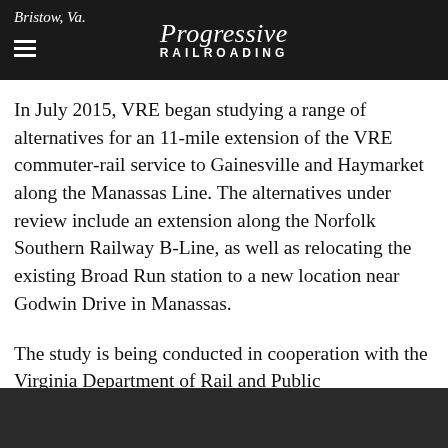Bristow, Va. | Progressive Railroading
In July 2015, VRE began studying a range of alternatives for an 11-mile extension of the VRE commuter-rail service to Gainesville and Haymarket along the Manassas Line. The alternatives under review include an extension along the Norfolk Southern Railway B-Line, as well as relocating the existing Broad Run station to a new location near Godwin Drive in Manassas.
The study is being conducted in cooperation with the Virginia Department of Rail and Public Transportation